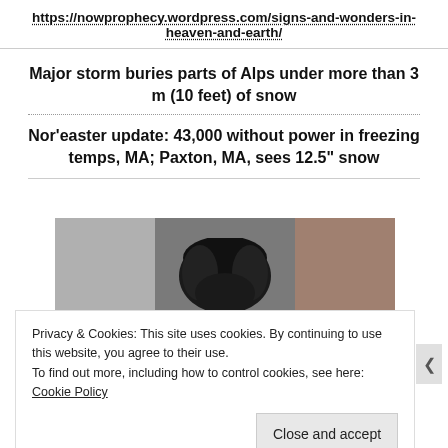https://nowprophecy.wordpress.com/signs-and-wonders-in-heaven-and-earth/
Major storm buries parts of Alps under more than 3 m (10 feet) of snow
Nor’easter update: 43,000 without power in freezing temps, MA; Paxton, MA, sees 12.5” snow
[Figure (photo): Partial view of a person with dark curly hair against a gray background]
Privacy & Cookies: This site uses cookies. By continuing to use this website, you agree to their use.
To find out more, including how to control cookies, see here: Cookie Policy
Close and accept